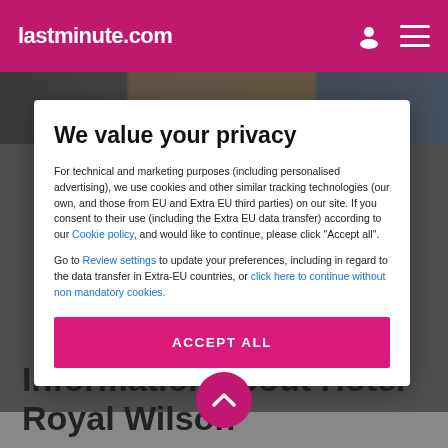lastminute.com
[Figure (screenshot): Hotel image strip visible behind the privacy modal, showing hotel exterior with muted colors]
We value your privacy
For technical and marketing purposes (including personalised advertising), we use cookies and other similar tracking technologies (our own, and those from EU and Extra EU third parties) on our site. If you consent to their use (including the Extra EU data transfer) according to our Cookie policy, and would like to continue, please click "Accept all".
Go to Review settings to update your preferences, including in regard to the data transfer in Extra-EU countries, or click here to continue without non mandatory cookies.
ACCEPT ALL
Information about Hôtel Royal Wilson